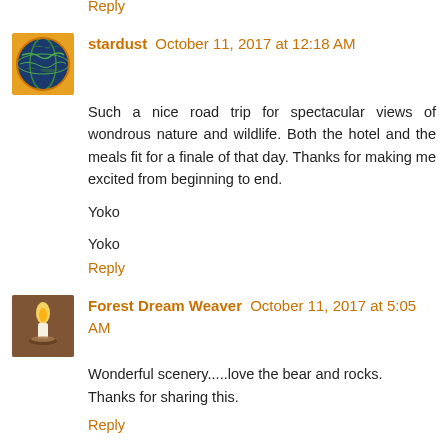Reply
stardust October 11, 2017 at 12:18 AM
Such a nice road trip for spectacular views of wondrous nature and wildlife. Both the hotel and the meals fit for a finale of that day. Thanks for making me excited from beginning to end.

Yoko

Yoko
Reply
Forest Dream Weaver October 11, 2017 at 5:05 AM
Wonderful scenery.....love the bear and rocks.
Thanks for sharing this.
Reply